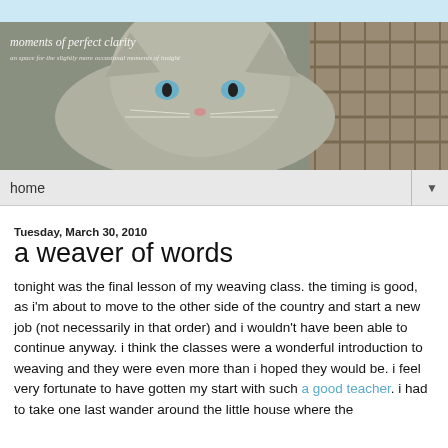[Figure (photo): Blog banner image showing a fluffy grey kitten with blue eyes sitting in a wicker basket, with blog title 'moments of perfect clarity' overlaid in white handwritten-style text]
home ▼
Tuesday, March 30, 2010
a weaver of words
tonight was the final lesson of my weaving class. the timing is good, as i'm about to move to the other side of the country and start a new job (not necessarily in that order) and i wouldn't have been able to continue anyway. i think the classes were a wonderful introduction to weaving and they were even more than i hoped they would be. i feel very fortunate to have gotten my start with such a good teacher. i had to take one last wander around the little house where the sessions were, admiring it, as if i want to be sure the